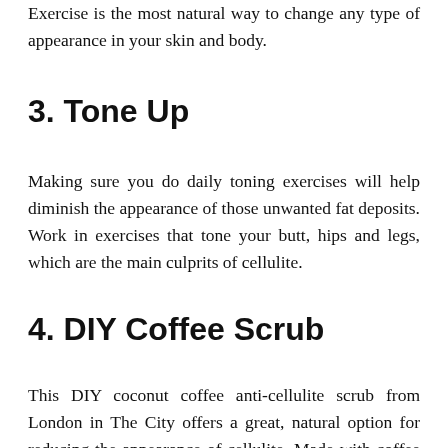Exercise is the most natural way to change any type of appearance in your skin and body.
3. Tone Up
Making sure you do daily toning exercises will help diminish the appearance of those unwanted fat deposits. Work in exercises that tone your butt, hips and legs, which are the main culprits of cellulite.
4. DIY Coffee Scrub
This DIY coconut coffee anti-cellulite scrub from London in The City offers a great, natural option for reducing the appearance of cellulite. Made with coffee grinds and sugar, which both act as natural exfoliants, the addition of coconut oil increases the